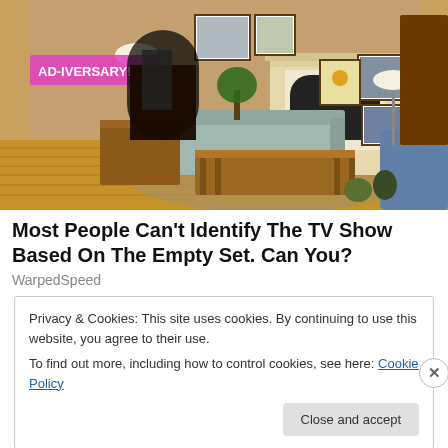[Figure (photo): Interior of a TV show set showing a living room with plaid sofa, wooden coffee table, fireplace with white mantel, hardwood floors, decorative rug, framed pictures on walls, lamp, and plants. A colorful banner reading 'AD-IVERSARY!' is visible in the upper left.]
Most People Can't Identify The TV Show Based On The Empty Set. Can You?
WarpedSpeed
Privacy & Cookies: This site uses cookies. By continuing to use this website, you agree to their use.
To find out more, including how to control cookies, see here: Cookie Policy
Close and accept